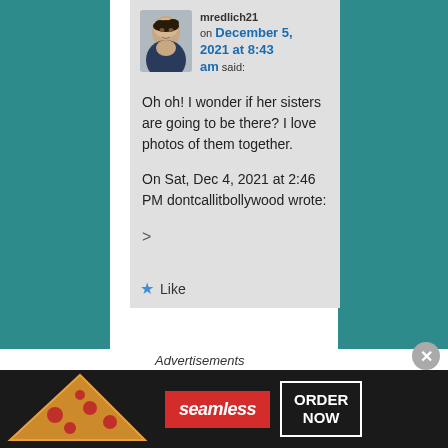mredlich21 on December 5, 2021 at 8:43 am said:
Oh oh! I wonder if her sisters are going to be there? I love photos of them together.
On Sat, Dec 4, 2021 at 2:46 PM dontcallitbollywood wrote:
>
Like
Advertisements